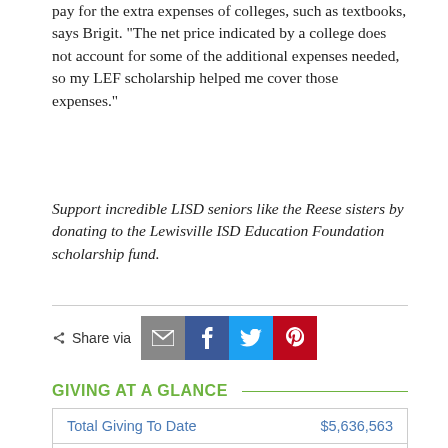pay for the extra expenses of colleges, such as textbooks, says Brigit. “The net price indicated by a college does not account for some of the additional expenses needed, so my LEF scholarship helped me cover those expenses.”
Support incredible LISD seniors like the Reese sisters by donating to the Lewisville ISD Education Foundation scholarship fund.
GIVING AT A GLANCE
|  |  |
| --- | --- |
| Total Giving To Date | $5,636,563 |
| Teacher Grants | $2,100,468 |